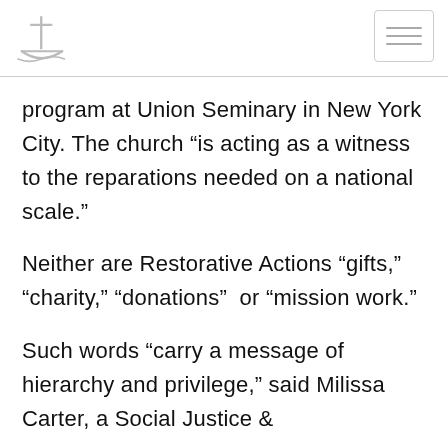[Logo and menu icon]
program at Union Seminary in New York City. The church “is acting as a witness to the reparations needed on a national scale.”
Neither are Restorative Actions “gifts,” “charity,” “donations” or “mission work.”
Such words “carry a message of hierarchy and privilege,” said Milissa Carter, a Social Justice &